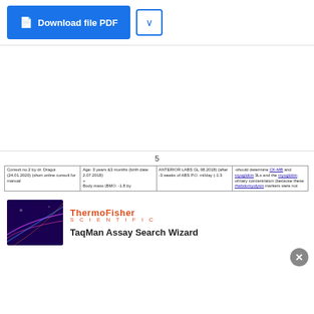[Figure (screenshot): Download file PDF button (blue) and dropdown arrow button (outlined, blue)]
5
|  |  |  |  |
| --- | --- | --- | --- |
| Consult no.2 by dr. Dragoi (24.01.2020) (short online consult for manual | Age: 3 years &3 months (birth date: 2.07.2018)
+
Body mass (BMO: -1.8 by | ANTERIOR LABS GL 08.2018) (after -3 weeks of ABS P.O. ml/day (-1.3 | -should determine CK-MB and myoglobin 3Ls and the myoglobin urinary concentration (because these rhabdomyolysis markers were not |
[Figure (screenshot): ThermoFisher Scientific TaqMan Assay Search Wizard advertisement with dark purple/blue background image]